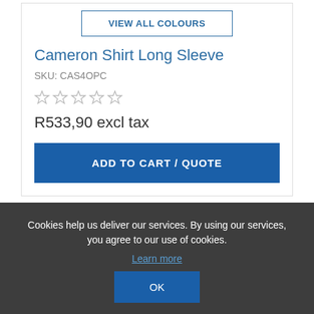VIEW ALL COLOURS
Cameron Shirt Long Sleeve
SKU: CAS4OPC
[Figure (other): Five empty star rating icons]
R533,90 excl tax
ADD TO CART / QUOTE
Cookies help us deliver our services. By using our services, you agree to our use of cookies.
Learn more
OK